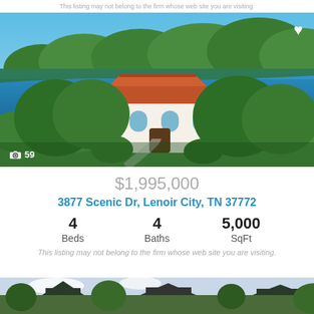This listing may not belong to the firm whose web site you are visiting.
[Figure (photo): Aerial view of a Mediterranean-style house with red tile roof near a lake, surrounded by lush green trees, with a dock visible on the water.]
$1,995,000
3877 Scenic Dr, Lenoir City, TN 37772
4 Beds   4 Baths   5,000 SqFt
This listing may not belong to the firm whose web site you are visiting.
[Figure (photo): Bottom strip showing partial view of another property listing photo.]